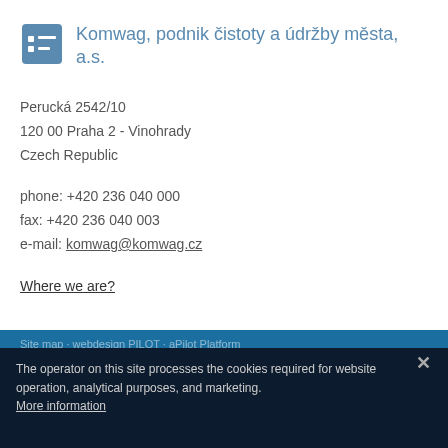Komwag, podnik čistoty a údržby města, a.s.
Perucká 2542/10
120 00 Praha 2 - Vinohrady
Czech Republic
phone: +420 236 040 000
fax: +420 236 040 003
e-mail: komwag@komwag.cz
Where we are?
Site map · webdesign PILOT · aPilot Platform
©
The operator on this site processes the cookies required for website operation, analytical purposes, and marketing. More information